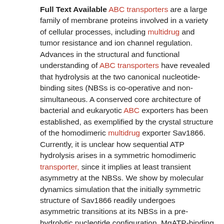Full Text Available ABC transporters are a large family of membrane proteins involved in a variety of cellular processes, including multidrug and tumor resistance and ion channel regulation. Advances in the structural and functional understanding of ABC transporters have revealed that hydrolysis at the two canonical nucleotide-binding sites (NBSs is co-operative and non-simultaneous. A conserved core architecture of bacterial and eukaryotic ABC exporters has been established, as exemplified by the crystal structure of the homodimeric multidrug exporter Sav1866. Currently, it is unclear how sequential ATP hydrolysis arises in a symmetric homodimeric transporter, since it implies at least transient asymmetry at the NBSs. We show by molecular dynamics simulation that the initially symmetric structure of Sav1866 readily undergoes asymmetric transitions at its NBSs in a pre-hydrolytic nucleotide configuration. MgATP-binding residues and a network of charged residues at the dimer interface are shown to form a sequence of putative molecular switches that allow ATP hydrolysis only at one NBS. We extend our findings to eukaryotic ABC exporters which often consist of two non-identical half-transporters, frequently with degeneracy substitutions at one of their two NBSs. Interestingly, many residues involved in asymmetric conformational switching in